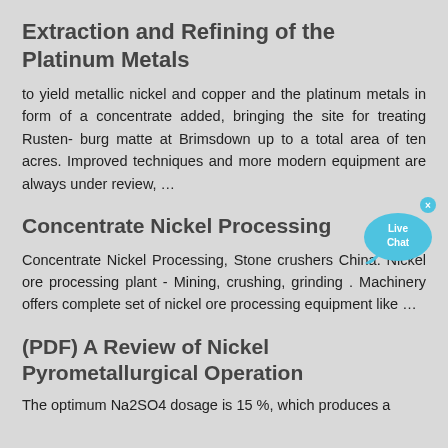Extraction and Refining of the Platinum Metals
to yield metallic nickel and copper and the platinum metals in form of a concentrate added, bringing the site for treating Rusten- burg matte at Brimsdown up to a total area of ten acres. Improved techniques and more modern equipment are always under review, …
Concentrate Nickel Processing
Concentrate Nickel Processing, Stone crushers China. Nickel ore processing plant - Mining, crushing, grinding . Machinery offers complete set of nickel ore processing equipment like …
(PDF) A Review of Nickel Pyrometallurgical Operation
The optimum Na2SO4 dosage is 15 %, which produces a